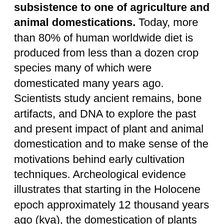subsistence to one of agriculture and animal domestications. Today, more than 80% of human worldwide diet is produced from less than a dozen crop species many of which were domesticated many years ago. Scientists study ancient remains, bone artifacts, and DNA to explore the past and present impact of plant and animal domestication and to make sense of the motivations behind early cultivation techniques. Archeological evidence illustrates that starting in the Holocene epoch approximately 12 thousand years ago (kya), the domestication of plants and animals developed in separate global locations most likely triggered by climate change and local population increases. This transition from hunting and gathering to